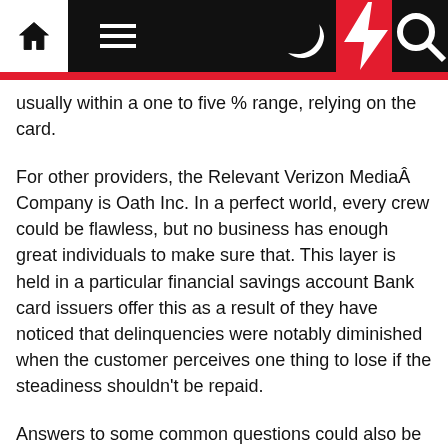Navigation bar with home, menu, moon, bolt, and search icons
usually within a one to five % range, relying on the card.
For other providers, the Relevant Verizon MediaÂ Company is Oath Inc. In a perfect world, every crew could be flawless, but no business has enough great individuals to make sure that. This layer is held in a particular financial savings account Bank card issuers offer this as a result of they have noticed that delinquencies were notably diminished when the customer perceives one thing to lose if the steadiness shouldn't be repaid.
Answers to some common questions could also be discovered beneath, including what accounts are being transferred, how long your old Emerald CardÂ® will work, and what you want to do. On this webcast, EY digital leaders will be part of industry